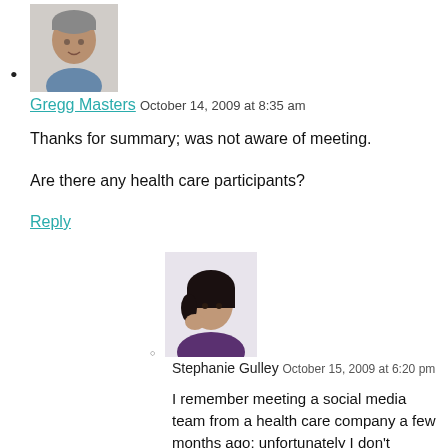[Figure (photo): Avatar photo of Gregg Masters, older man with grey hair]
Gregg Masters October 14, 2009 at 8:35 am
Thanks for summary; was not aware of meeting.
Are there any health care participants?
Reply
[Figure (photo): Avatar photo of Stephanie Gulley, young woman with dark hair]
Stephanie Gulley October 15, 2009 at 6:20 pm
I remember meeting a social media team from a health care company a few months ago; unfortunately I don't remember which company they were from.
The next session is going to be on October 22nd from 7AM to 9:30AM at the same location. Angie Swartz the CEO of Square